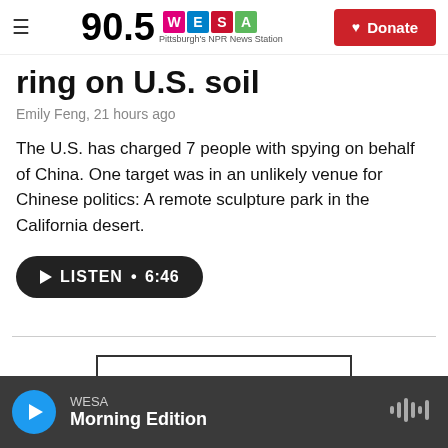90.5 WESA Pittsburgh's NPR News Station | Donate
ring on U.S. soil
Emily Feng, 21 hours ago
The U.S. has charged 7 people with spying on behalf of China. One target was in an unlikely venue for Chinese politics: A remote sculpture park in the California desert.
LISTEN · 6:46
Load More
WESA Morning Edition